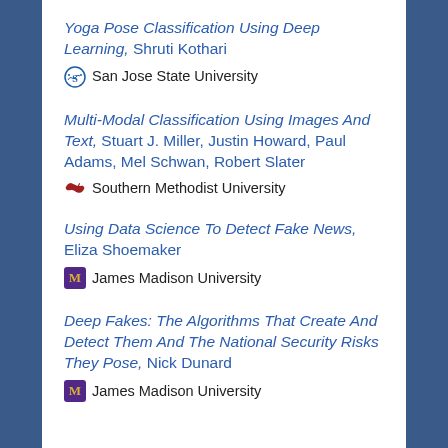Yoga Pose Classification Using Deep Learning, Shruti Kothari
San Jose State University
Multi-Modal Classification Using Images And Text, Stuart J. Miller, Justin Howard, Paul Adams, Mel Schwan, Robert Slater
Southern Methodist University
Using Data Science To Detect Fake News, Eliza Shoemaker
James Madison University
Deep Fakes: The Algorithms That Create And Detect Them And The National Security Risks They Pose, Nick Dunard
James Madison University